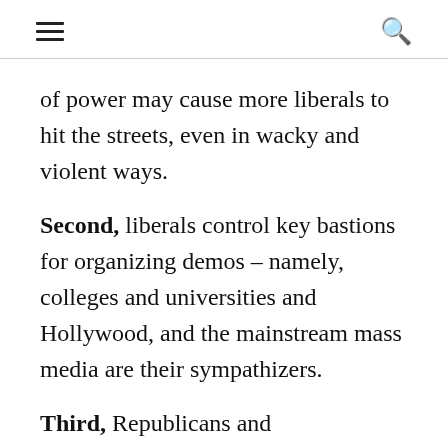≡  🔍
of power may cause more liberals to hit the streets, even in wacky and violent ways.
Second, liberals control key bastions for organizing demos – namely, colleges and universities and Hollywood, and the mainstream mass media are their sympathizers.
Third, Republicans and